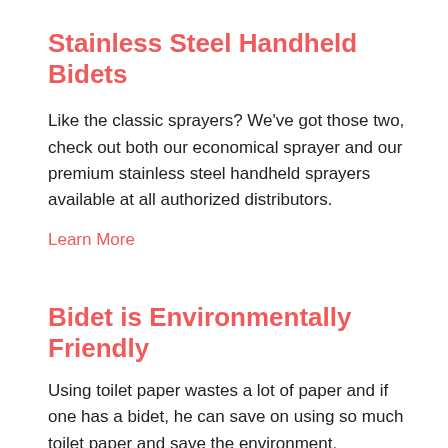Stainless Steel Handheld Bidets
Like the classic sprayers? We've got those two, check out both our economical sprayer and our premium stainless steel handheld sprayers available at all authorized distributors.
Learn More
Bidet is Environmentally Friendly
Using toilet paper wastes a lot of paper and if one has a bidet, he can save on using so much toilet paper and save the environment. Americans use a lot of toilet paper each year and if they used the bidet